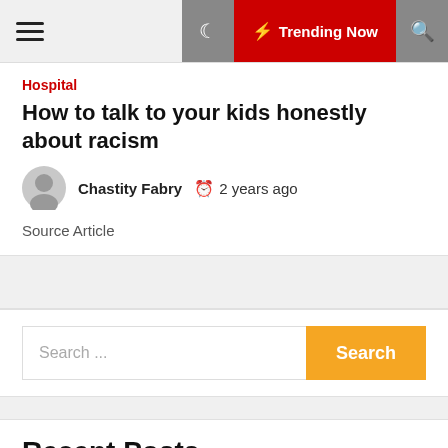≡  🌙  ⚡ Trending Now  🔍
Hospital
How to talk to your kids honestly about racism
Chastity Fabry  🕐 2 years ago
Source Article
Search ...
Recent Posts
Getting Home Equity Loan (Forbrukslån): Things to